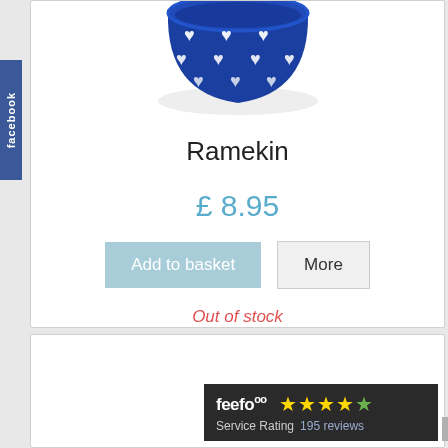[Figure (photo): Blue ceramic ramekin with white heart pattern decoration, shown from a slightly elevated angle on a white background.]
Ramekin
£ 8.95
Add to basket
More
Out of stock
[Figure (screenshot): Feefo service rating badge showing 4 stars and 195 reviews on a dark background.]